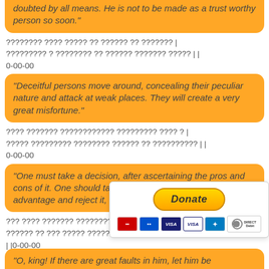doubted by all means. He is not to be made as a trustworthy person so soon."
Sanskrit verse 1 (Devanagari) || 0-00-00
"Deceitful persons move around, concealing their peculiar nature and attack at weak places. They will create a very great misfortune."
Sanskrit verse 2 (Devanagari) || 0-00-00
"One must take a decision, after ascertaining the pros and cons of it. One should take up the action, if there is an advantage and reject it, if it is faulty."
Sanskrit verse 3 (Devanagari) ||0-00-00
[Figure (infographic): Donate button with PayPal-style golden pill button labeled 'Donate' and payment card icons: Mastercard, Maestro, VISA, VISA Electron, American Express, Direct Debit]
"O, king! If there are great faults in him, let him be...